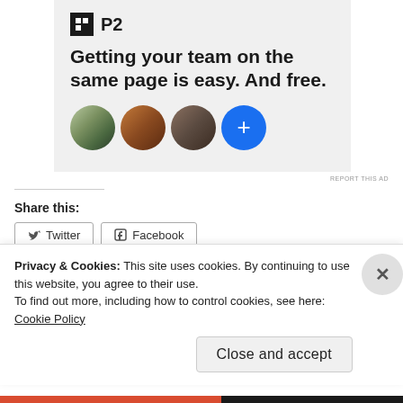[Figure (illustration): P2 advertisement banner with logo, headline text 'Getting your team on the same page is easy. And free.', and three avatar circles plus a blue plus-circle button]
REPORT THIS AD
Share this:
Twitter
Facebook
Privacy & Cookies: This site uses cookies. By continuing to use this website, you agree to their use.
To find out more, including how to control cookies, see here: Cookie Policy
Close and accept